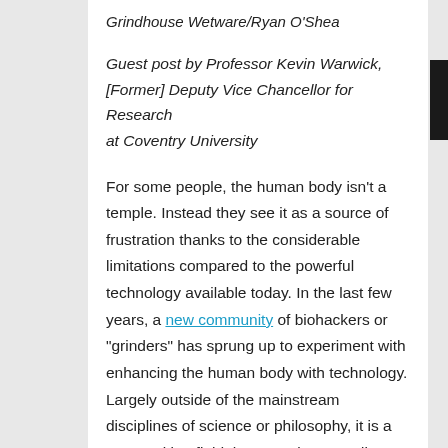Grindhouse Wetware/Ryan O'Shea
Guest post by Professor Kevin Warwick, [Former] Deputy Vice Chancellor for Research at Coventry University
For some people, the human body isn't a temple. Instead they see it as a source of frustration thanks to the considerable limitations compared to the powerful technology available today. In the last few years, a new community of biohackers or “grinders” has sprung up to experiment with enhancing the human body with technology. Largely outside of the mainstream disciplines of science or philosophy, it is a raw, exciting field that turns longstanding ethical beliefs on their head. Kevin Warwick states…